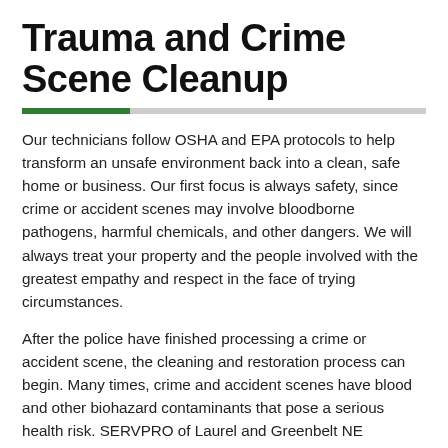Trauma and Crime Scene Cleanup
Our technicians follow OSHA and EPA protocols to help transform an unsafe environment back into a clean, safe home or business. Our first focus is always safety, since crime or accident scenes may involve bloodborne pathogens, harmful chemicals, and other dangers. We will always treat your property and the people involved with the greatest empathy and respect in the face of trying circumstances.
After the police have finished processing a crime or accident scene, the cleaning and restoration process can begin. Many times, crime and accident scenes have blood and other biohazard contaminants that pose a serious health risk. SERVPRO of Laurel and Greenbelt NE Beltsville E will respond immediately and has the specialized training, protective equipment, and experience to safely clean trauma and crime scenes.